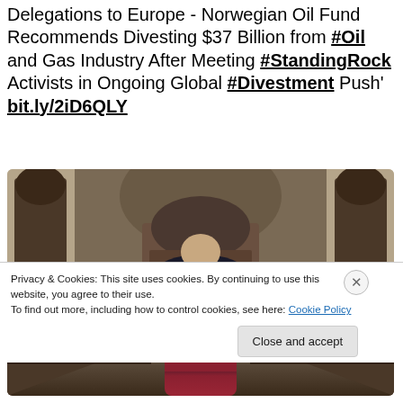Delegations to Europe - Norwegian Oil Fund Recommends Divesting $37 Billion from #Oil and Gas Industry After Meeting #StandingRock Activists in Ongoing Global #Divestment Push' bit.ly/2iD6QLY
[Figure (photo): A person wearing a black jacket with 'DIVEST' written on the back, viewed from behind, standing in front of a grand stone building with arched doorways and ornate windows.]
Privacy & Cookies: This site uses cookies. By continuing to use this website, you agree to their use.
To find out more, including how to control cookies, see here: Cookie Policy